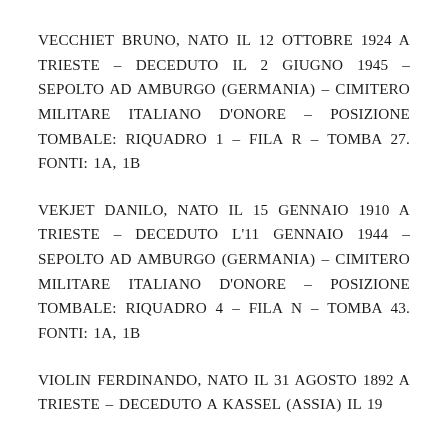VECCHIET BRUNO, NATO IL 12 OTTOBRE 1924 A TRIESTE – DECEDUTO IL 2 GIUGNO 1945 – SEPOLTO AD AMBURGO (GERMANIA) – CIMITERO MILITARE ITALIANO D'ONORE – POSIZIONE TOMBALE: RIQUADRO 1 – FILA R – TOMBA 27. FONTI: 1A, 1B
VEKJET DANILO, NATO IL 15 GENNAIO 1910 A TRIESTE – DECEDUTO L'11 GENNAIO 1944 – SEPOLTO AD AMBURGO (GERMANIA) – CIMITERO MILITARE ITALIANO D'ONORE – POSIZIONE TOMBALE: RIQUADRO 4 – FILA N – TOMBA 43. FONTI: 1A, 1B
VIOLIN FERDINANDO, NATO IL 31 AGOSTO 1892 A TRIESTE – DECEDUTO A KASSEL (ASSIA) IL 19